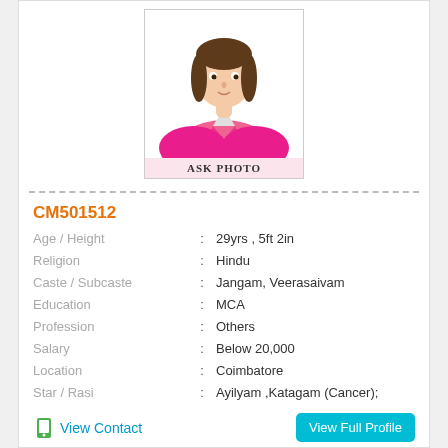[Figure (photo): Female placeholder photo with pink blazer and 'ASK PHOTO' label]
CM501512
| Age / Height | : | 29yrs , 5ft 2in |
| Religion | : | Hindu |
| Caste / Subcaste | : | Jangam, Veerasaivam |
| Education | : | MCA |
| Profession | : | Others |
| Salary | : | Below 20,000 |
| Location | : | Coimbatore |
| Star / Rasi | : | Ayilyam ,Katagam (Cancer); |
View Contact
View Full Profile
[Figure (photo): Partial female profile photo at bottom of page]